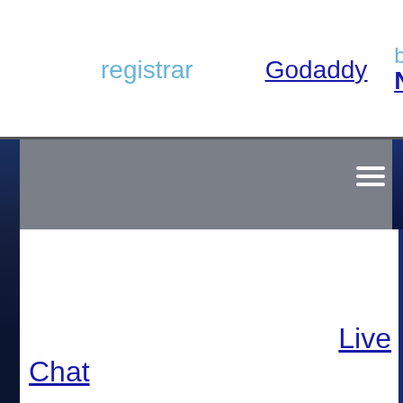registrar   Godaddy   best domain Namecheap
[Figure (screenshot): Gray navigation bar with hamburger menu icon (three horizontal white lines) on the right side]
Live Chat